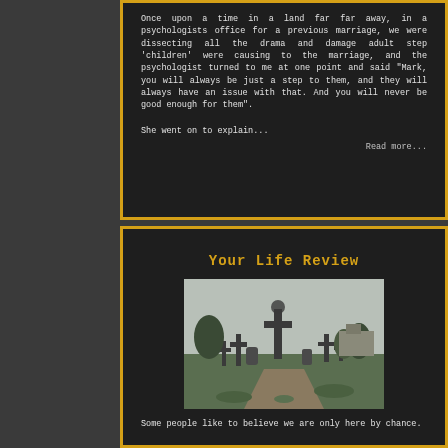Once upon a time in a land far far away, in a psychologists office for a previous marriage, we were dissecting all the drama and damage adult step 'children' were causing to the marriage, and the psychologist turned to me at one point and said "Mark, you will always be just a step to them, and they will always have an issue with that. And you will never be good enough for them".
She went on to explain...
Read more...
Your Life Review
[Figure (photo): A cemetery with stone crosses and grave markers on a cloudy grey day, with trees and a building visible in the background.]
Some people like to believe we are only here by chance.